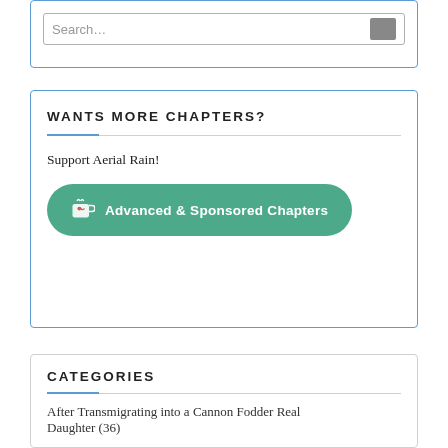[Figure (screenshot): Partial search box widget at top of page with placeholder text 'Search...' and a grey search button]
WANTS MORE CHAPTERS?
Support Aerial Rain!
Advanced & Sponsored Chapters
CATEGORIES
After Transmigrating into a Cannon Fodder Real Daughter (36)